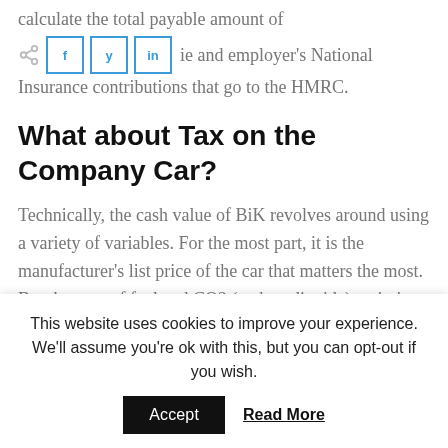calculate the total payable amount of
employee and employer's National Insurance contributions that go to the HMRC.
What about Tax on the Company Car?
Technically, the cash value of BiK revolves around using a variety of variables. For the most part, it is the manufacturer's list price of the car that matters the most. But the type of fuel and CO2 (carbon dioxide) emissions are also part of
This website uses cookies to improve your experience. We'll assume you're ok with this, but you can opt-out if you wish.